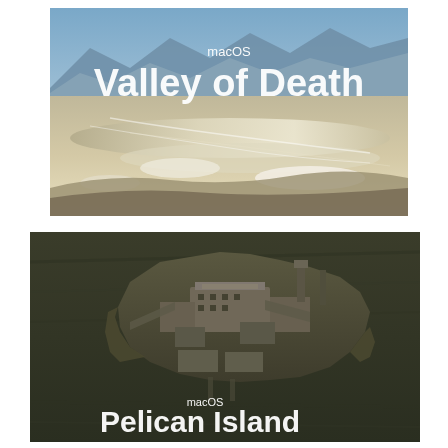[Figure (photo): Aerial/landscape photo of Death Valley - desert salt flats with mountains in background, blue sky. Text overlay: macOS Valley of Death]
[Figure (photo): Black and white aerial photo of Pelican Island (Alcatraz-like island prison facility). Text overlay: macOS Pelican Island]